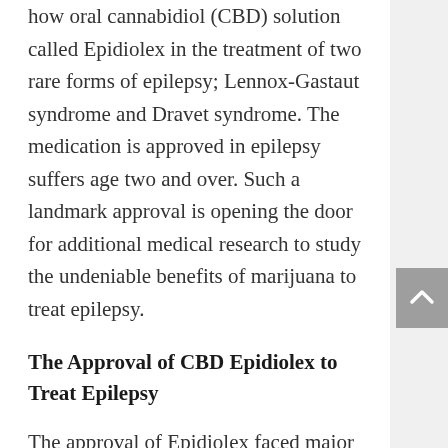how oral cannabidiol (CBD) solution called Epidiolex in the treatment of two rare forms of epilepsy; Lennox-Gastaut syndrome and Dravet syndrome. The medication is approved in epilepsy suffers age two and over. Such a landmark approval is opening the door for additional medical research to study the undeniable benefits of marijuana to treat epilepsy.
The Approval of CBD Epidiolex to Treat Epilepsy
The approval of Epidiolex faced major hurdles because marijuana remains a Schedule 1 drug according to the Drug Enforcement Administration (DEA). To gain